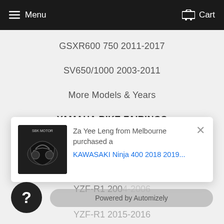Menu  Cart
GSXR600 750 2011-2017
SV650/1000 2003-2011
More Models & Years
YAMAHA BIKE FAIRINGS
YZF-R1 2000-2001
YZF-R1 2002-2003
YZF-R1 2004-2006 (partial)
[Figure (screenshot): Popup notification: product image of motorcycle fairing kit on dark background with 'SBK MOTOR' text. Notification reads: 'Za Yee Leng from Melbourne purchased a KAWASAKI Ninja 400 2018 2019...' with a close button.]
Powered by Automizely
YZF-R1 2015-2016 (partial)
YZF-R7 2014-2018 (partial)